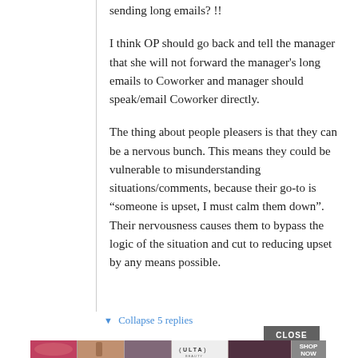sending long emails? !!
I think OP should go back and tell the manager that she will not forward the manager's long emails to Coworker and manager should speak/email Coworker directly.
The thing about people pleasers is that they can be a nervous bunch. This means they could be vulnerable to misunderstanding situations/comments, because their go-to is “someone is upset, I must calm them down”. Their nervousness causes them to bypass the logic of the situation and cut to reducing upset by any means possible.
▼ Collapse 5 replies
[Figure (screenshot): ULTA beauty advertisement banner with CLOSE button, showing cosmetic close-up images and SHOP NOW text]